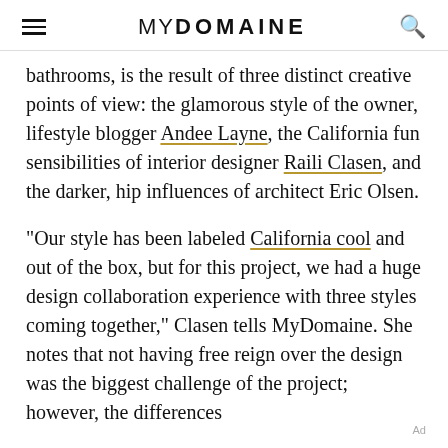MYDOMAINE
bathrooms, is the result of three distinct creative points of view: the glamorous style of the owner, lifestyle blogger Andee Layne, the California fun sensibilities of interior designer Raili Clasen, and the darker, hip influences of architect Eric Olsen.
"Our style has been labeled California cool and out of the box, but for this project, we had a huge design collaboration experience with three styles coming together," Clasen tells MyDomaine. She notes that not having free reign over the design was the biggest challenge of the project; however, the differences
Ad